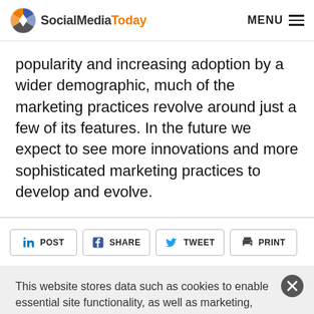SocialMediaToday | MENU
popularity and increasing adoption by a wider demographic, much of the marketing practices revolve around just a few of its features. In the future we expect to see more innovations and more sophisticated marketing practices to develop and evolve.
POST | SHARE | TWEET | PRINT
This website stores data such as cookies to enable essential site functionality, as well as marketing, personalization, and analytics. By remaining on this website you indicate your consent. Privacy Policy